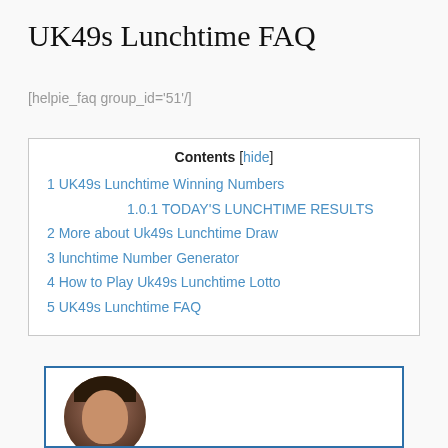UK49s Lunchtime FAQ
[helpie_faq group_id='51'/]
| Contents [hide] |
| --- |
| 1 UK49s Lunchtime Winning Numbers |
| 1.0.1 TODAY'S LUNCHTIME RESULTS |
| 2 More about Uk49s Lunchtime Draw |
| 3 lunchtime Number Generator |
| 4 How to Play Uk49s Lunchtime Lotto |
| 5 UK49s Lunchtime FAQ |
[Figure (photo): Circular portrait photo of a woman with dark hair, shown inside a blue-bordered box in the lower portion of the page.]